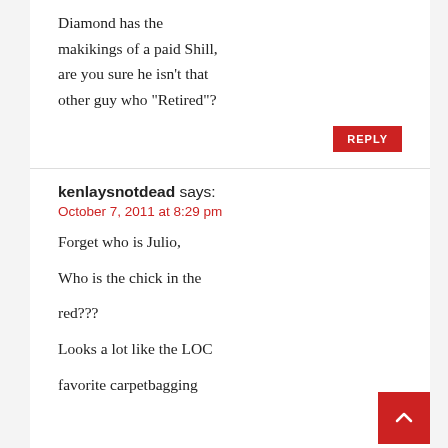Diamond has the makikings of a paid Shill, are you sure he isn't that other guy who "Retired"?
REPLY
kenlaysnotdead says:
October 7, 2011 at 8:29 pm
Forget who is Julio, Who is the chick in the red??? Looks a lot like the LOC favorite carpetbagging